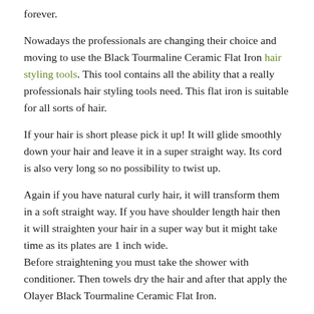forever.
Nowadays the professionals are changing their choice and moving to use the Black Tourmaline Ceramic Flat Iron hair styling tools. This tool contains all the ability that a really professionals hair styling tools need. This flat iron is suitable for all sorts of hair.
If your hair is short please pick it up! It will glide smoothly down your hair and leave it in a super straight way. Its cord is also very long so no possibility to twist up.
Again if you have natural curly hair, it will transform them in a soft straight way. If you have shoulder length hair then it will straighten your hair in a super way but it might take time as its plates are 1 inch wide. Before straightening you must take the shower with conditioner. Then towels dry the hair and after that apply the Olayer Black Tourmaline Ceramic Flat Iron.
You may also use the hair protecting serum to avoid any kind of damages, though it will not cause any harm if you use it only on the dry hair.